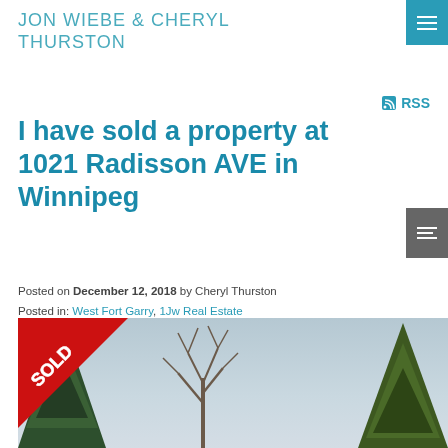JON WIEBE & CHERYL THURSTON
RSS
I have sold a property at 1021 Radisson AVE in Winnipeg
Posted on December 12, 2018 by Cheryl Thurston
Posted in: West Fort Garry, 1Jw Real Estate
[Figure (photo): Property photo with red SOLD diagonal banner overlay. Shows winter scene with bare trees and evergreen trees against a grey sky.]